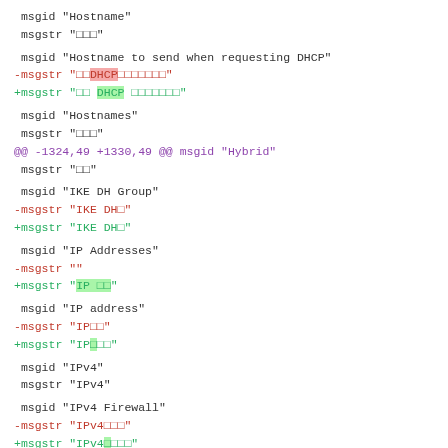msgid "Hostname"
msgstr "□□□"

msgid "Hostname to send when requesting DHCP"
-msgstr "□□DHCP□□□□□□□"
+msgstr "□□ DHCP □□□□□□□"

msgid "Hostnames"
msgstr "□□□"
@@ -1324,49 +1330,49 @@ msgid "Hybrid"
 msgstr "□□"

 msgid "IKE DH Group"
-msgstr "IKE DH□"
+msgstr "IKE DH□"

 msgid "IP Addresses"
-msgstr ""
+msgstr "IP □□"

 msgid "IP address"
-msgstr "IP□□"
+msgstr "IP□□"

 msgid "IPv4"
 msgstr "IPv4"

 msgid "IPv4 Firewall"
-msgstr "IPv4□□□"
+msgstr "IPv4□□□"

 msgid "IPv4 WAN Status"